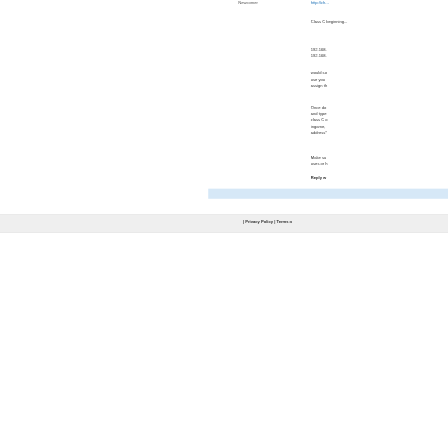Newcomer
http://ch...
Class C beginning...
192.168.
192.168.
would so use your assign th
Once do and type class C o ingame, address*
Make su uses or h
Reply w
| Privacy Policy | Terms o